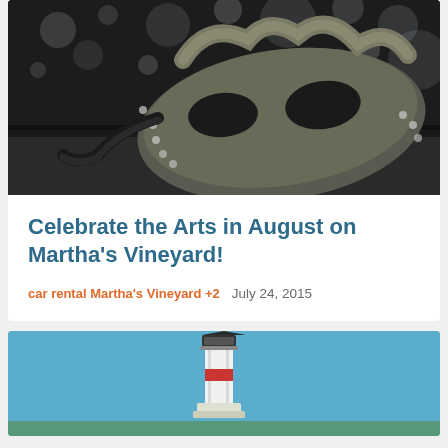[Figure (photo): Black and white photo of an ornate masquerade mask with bokeh light background]
Celebrate the Arts in August on Martha's Vineyard!
car rental Martha's Vineyard +2   July 24, 2015
[Figure (photo): Photo of a white lighthouse against a blue sky]